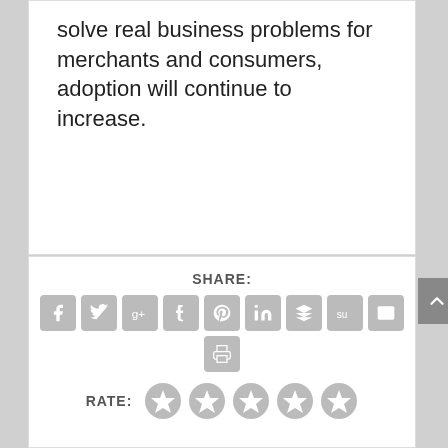solve real business problems for merchants and consumers, adoption will continue to increase.
SHARE:
[Figure (infographic): Social share buttons: Facebook, Twitter, Google+, Tumblr, Pinterest, LinkedIn, Buffer, StumbleUpon, Email, Print]
RATE:
[Figure (infographic): Five star rating icons, all unselected (gray)]